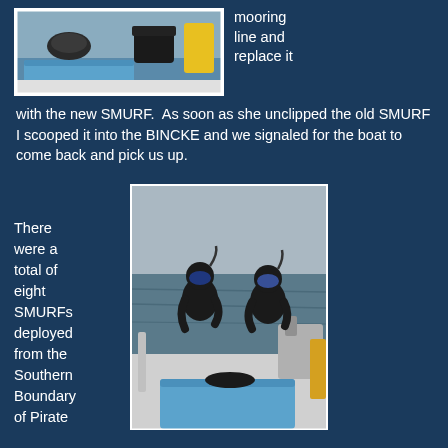[Figure (photo): Photo of equipment on a boat deck including a blue cooler/container and black gear bags, taken on the water]
mooring line and replace it with the new SMURF.  As soon as she unclipped the old SMURF I scooped it into the BINCKE and we signaled for the boat to come back and pick us up.
[Figure (photo): Two divers in wetsuits and snorkel gear sitting on the back of a boat on open water, with a blue cooler in the foreground]
There were a total of eight SMURFs deployed from the Southern Boundary of Pirate